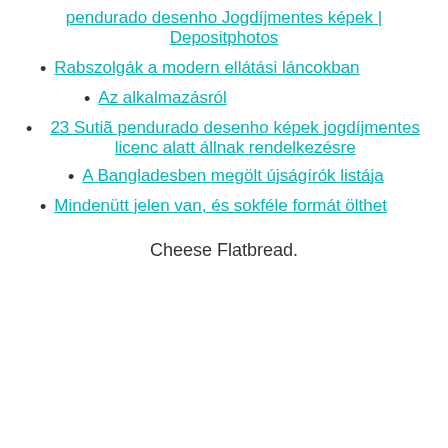pendurado desenho Jogdíjmentes képek | Depositphotos
Rabszolgák a modern ellátási láncokban
Az alkalmazásról
23 Sutiã pendurado desenho képek jogdíjmentes licenc alatt állnak rendelkezésre
A Bangladesben megölt újságírók listája
Mindenütt jelen van, és sokféle formát ölthet
Cheese Flatbread.